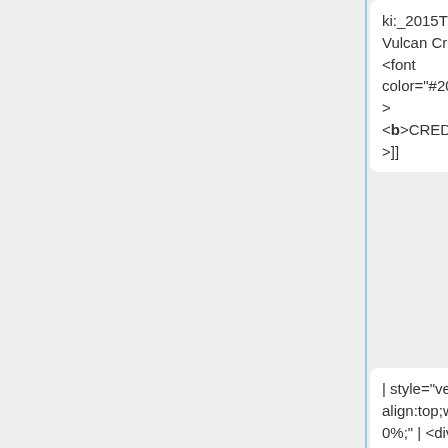ki:_2015T1 Vulcan Credits | <font color="#203470"> <b>CREDITS</b>]]
ki:_2015T1 Vulcan Credits | <font color="#203470"> <b>CREDITS</b>]]
| style="vertical-align:top;width:20%;" | <div style="padding:3px; font-weight:bold; text-align:center; line-height:wrap_content; font-size:14px; border-bottom:2px solid #5478E4;"> [[IS480_Team_wi ki: 2015T1
| style="vertical-align:top;width:20%;" | <div style="padding:3px; font-weight:bold; text-align:center; line-height:wrap_content; font-size:14px; border-bottom:2px solid #5478E4;"> [[IS480_Team_wi ki: 2015T1